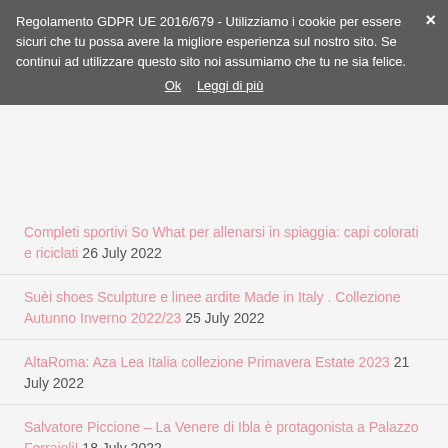Lo stile usar che data la nuova collezione Autunno... 18 August 2022 Trucco labbra: come usare il lucidalabbra 17 August 2022
Regolamento GDPR UE 2016/679 - Utilizziamo i cookie per essere sicuri che tu possa avere la migliore esperienza sul nostro sito. Se continui ad utilizzare questo sito noi assumiamo che tu ne sia felice. Ok Leggi di più
Completi sportivi So What per allenarsi in spiaggia: capi colorati e riciclati 26 July 2022
Suèi shoes Sculpture e linee ardite Made in Italy . Collezione Autunno Inverno 2022/23 25 July 2022
AltaRoma: Aza Lea Italia collezione Primavera Estate 2023 21 July 2022
Salvatore Piccione – La Venere di Ibla è protagonista a Palazzo Ferrajoli! 18 July 2022
Silhouette decise e lunghezze generose: l'estetica raffinata di Virginie Viard per Chanel – collezione